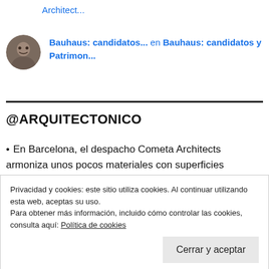Architect...
[Figure (photo): Circular avatar photo of a person]
Bauhaus: candidatos... en Bauhaus: candidatos y Patrimon...
@ARQUITECTONICO
En Barcelona, el despacho Cometa Architects armoniza unos pocos materiales con superficies
Privacidad y cookies: este sitio utiliza cookies. Al continuar utilizando esta web, aceptas su uso.
Para obtener más información, incluido cómo controlar las cookies, consulta aquí: Política de cookies
Cerrar y aceptar